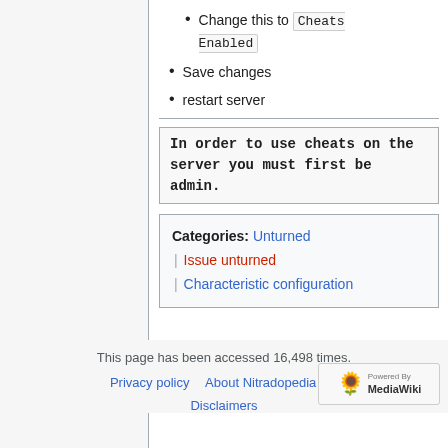Change this to Cheats Enabled
Save changes
restart server
In order to use cheats on the server you must first be admin.
Categories: Unturned | Issue unturned | Characteristic configuration
This page has been accessed 16,498 times.
Privacy policy   About Nitradopedia EN
Disclaimers